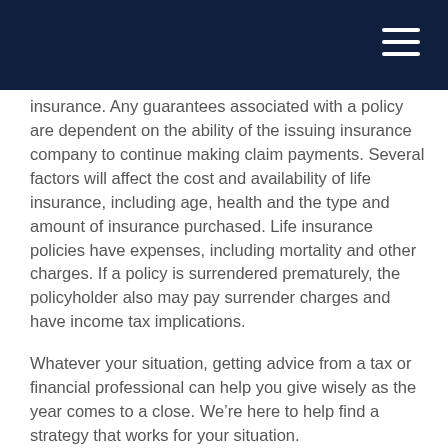insurance. Any guarantees associated with a policy are dependent on the ability of the issuing insurance company to continue making claim payments. Several factors will affect the cost and availability of life insurance, including age, health and the type and amount of insurance purchased. Life insurance policies have expenses, including mortality and other charges. If a policy is surrendered prematurely, the policyholder also may pay surrender charges and have income tax implications.
Whatever your situation, getting advice from a tax or financial professional can help you give wisely as the year comes to a close. We’re here to help find a strategy that works for your situation.
1. IRS.gov, 2022
2. IRS.gov, 2022